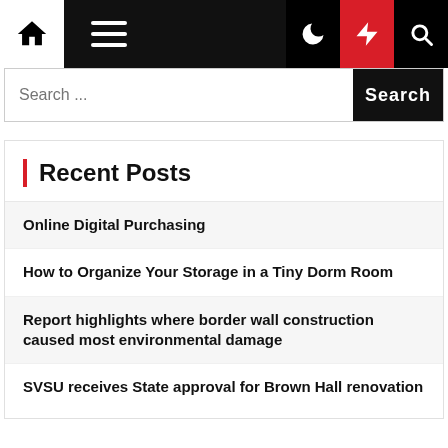Navigation bar with home icon, hamburger menu, moon icon, lightning bolt icon (red), and search icon
Search ...
Recent Posts
Online Digital Purchasing
How to Organize Your Storage in a Tiny Dorm Room
Report highlights where border wall construction caused most environmental damage
SVSU receives State approval for Brown Hall renovation